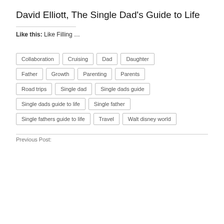David Elliott, The Single Dad's Guide to Life
Like this: Like Filling …
Collaboration
Cruising
Dad
Daughter
Father
Growth
Parenting
Parents
Road trips
Single dad
Single dads guide
Single dads guide to life
Single father
Single fathers guide to life
Travel
Walt disney world
Previous Post: